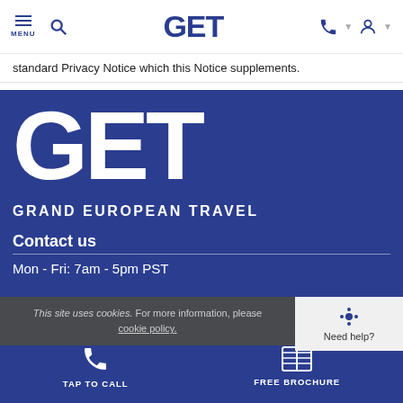MENU | GET
standard Privacy Notice which this Notice supplements.
[Figure (logo): Grand European Travel (GET) large white logo on blue background with text GRAND EUROPEAN TRAVEL]
Contact us
Mon - Fri: 7am - 5pm PST
This site uses cookies. For more information, please cookie policy.
Need help?
TAP TO CALL
FREE BROCHURE